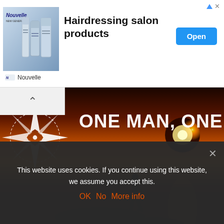[Figure (screenshot): Advertisement banner for Nouvelle hairdressing salon products with product image on left, text 'Hairdressing salon products' in center, blue 'Open' button on right, and 'Nouvelle' brand name at bottom left]
[Figure (photo): Hero image of a travel blog 'ONE MAN, ONE MAP' showing a silhouette of a person walking on rocks at sunset with orange sky, compass logo on left, tagline 'Ungewöhnliches aus 64 Ländern. Unexpected things from 64 cou...' overlaid at bottom]
This website uses cookies. If you continue using this website, we assume you accept this.
OK  No  More info